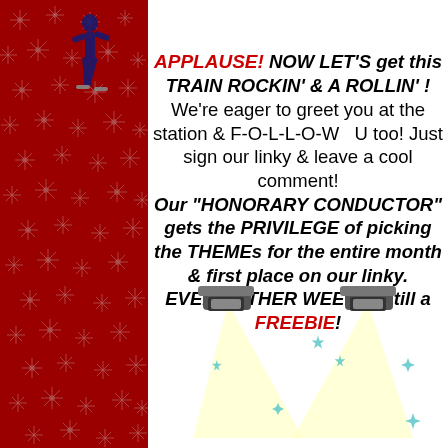APPLAUSE!  NOW LET'S  get this TRAIN ROCKIN' & A ROLLIN' !  We're eager to greet you at the station & F-O-L-L-O-W   U too!  Just sign our linky & leave a cool comment! Our "HONORARY CONDUCTOR" gets the PRIVILEGE of picking the THEMEs for the entire month & first place on our linky. EVERY OTHER WEEK is still a FREEBIE!
[Figure (illustration): Two crossed spotlights/stage lights shining downward with teal star sparkles around them, illustrated cartoon style]